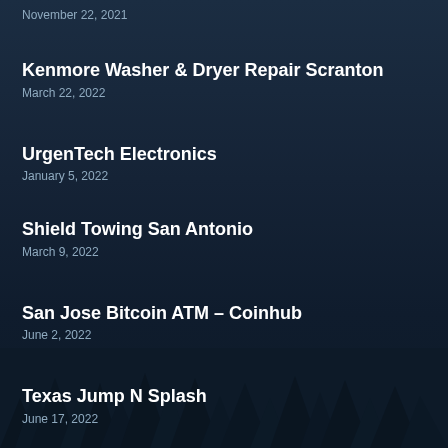November 22, 2021
Kenmore Washer & Dryer Repair Scranton
March 22, 2022
UrgenTech Electronics
January 5, 2022
Shield Towing San Antonio
March 9, 2022
San Jose Bitcoin ATM – Coinhub
June 2, 2022
Texas Jump N Splash
June 17, 2022